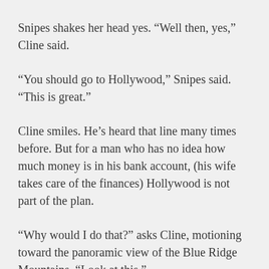Snipes shakes her head yes. “Well then, yes,” Cline said.
“You should go to Hollywood,” Snipes said. “This is great.”
Cline smiles. He’s heard that line many times before. But for a man who has no idea how much money is in his bank account, (his wife takes care of the finances) Hollywood is not part of the plan.
“Why would I do that?” asks Cline, motioning toward the panoramic view of the Blue Ridge Mountains. “Look at this.”